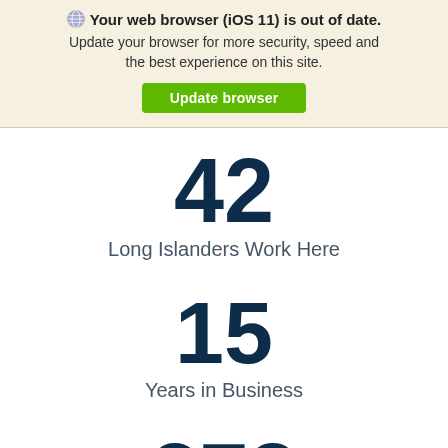Your web browser (iOS 11) is out of date. Update your browser for more security, speed and the best experience on this site.
Update browser
42
Long Islanders Work Here
15
Years in Business
273